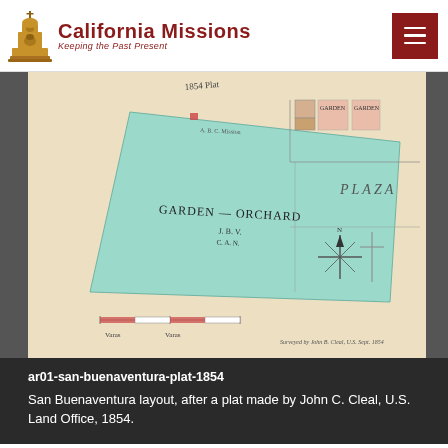[Figure (logo): California Missions logo with mission bell tower icon in gold/brown and text 'California Missions / Keeping the Past Present' in dark red]
[Figure (photo): Historical 1854 plat map of San Buenaventura showing a large teal/green-shaded Garden-Orchard parcel, Plaza label, garden plots in upper right, compass rose, and surveyor notation at bottom]
ar01-san-buenaventura-plat-1854
San Buenaventura layout, after a plat made by John C. Cleal, U.S. Land Office, 1854.